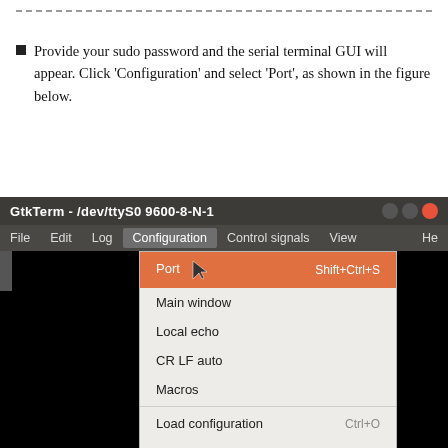Provide your sudo password and the serial terminal GUI will appear. Click 'Configuration' and select 'Port', as shown in the figure below.
[Figure (screenshot): Screenshot of GtkTerm application showing the Configuration menu open with 'Port' highlighted in orange, and menu items: Port (Shift+Ctrl+S), Main window, Local echo, CR LF auto, Macros, Load configuration (Ctrl+O), Save configuration, Delete configuration.]